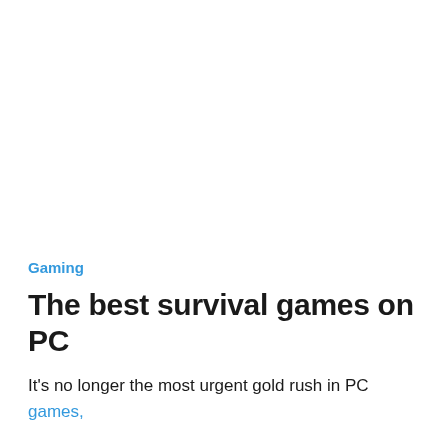Gaming
The best survival games on PC
It's no longer the most urgent gold rush in PC games,